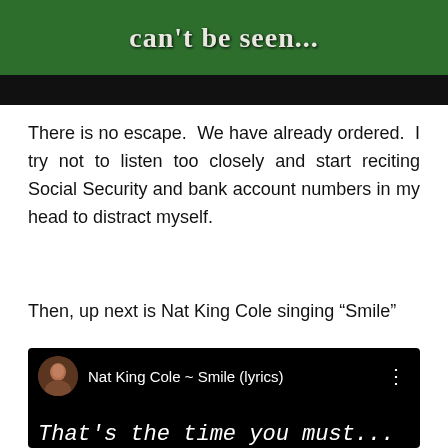[Figure (screenshot): Top portion of a video/image with green leafy background and bold white/cream text reading "can't be seen..." followed by a black bar below]
There is no escape.  We have already ordered.  I try not to listen too closely and start reciting Social Security and bank account numbers in my head to distract myself.
Then, up next is Nat King Cole singing “Smile”
[Figure (screenshot): YouTube video thumbnail showing Nat King Cole ~ Smile (lyrics) with a man's avatar photo on a black background, and cursive white lyrics text at the bottom reading 'That's the time you must...']